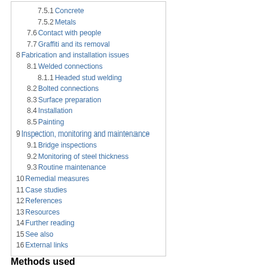7.5.1 Concrete
7.5.2 Metals
7.6 Contact with people
7.7 Graffiti and its removal
8 Fabrication and installation issues
8.1 Welded connections
8.1.1 Headed stud welding
8.2 Bolted connections
8.3 Surface preparation
8.4 Installation
8.5 Painting
9 Inspection, monitoring and maintenance
9.1 Bridge inspections
9.2 Monitoring of steel thickness
9.3 Routine maintenance
10 Remedial measures
11 Case studies
12 References
13 Resources
14 Further reading
15 See also
16 External links
Methods used